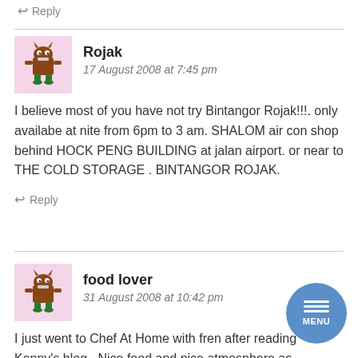↩ Reply
Rojak
17 August 2008 at 7:45 pm
I believe most of you have not try Bintangor Rojak!!!. only availabe at nite from 6pm to 3 am. SHALOM air con shop behind HOCK PENG BUILDING at jalan airport. or near to THE COLD STORAGE . BINTANGOR ROJAK.
↩ Reply
food lover
31 August 2008 at 10:42 pm
I just went to Chef At Home with fren after reading Kenny's blog . Nice food and nice atmosphere as